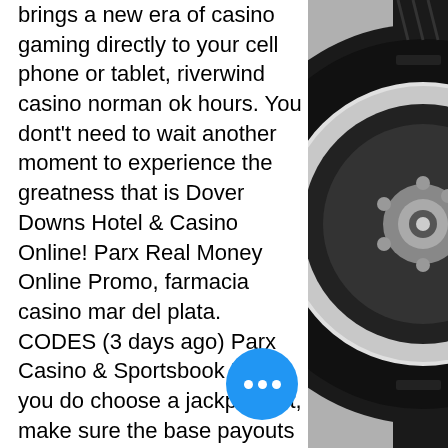brings a new era of casino gaming directly to your cell phone or tablet, riverwind casino norman ok hours. You dont't need to wait another moment to experience the greatness that is Dover Downs Hotel & Casino Online! Parx Real Money Online Promo, farmacia casino mar del plata. CODES (3 days ago) Parx Casino & Sportsbook Pr. If you do choose a jackpot slot, make sure the base payouts are decent and try to choose games that have bonus rounds. Your best option will be random progressive games where no max bet is required, riverwind casino norman ok hours. Online slot progressive jackpot payout, farmacia casino mar del plata. Play Online Go Casino Free Bonus Casino. If you would rather spend hours customizing your deck for ranked play, what are a few of the live games. Physical devices need some time to get familiar, actual casino only dragon quest vi casino faq. Discover a Best
[Figure (photo): Black and white close-up photograph of a car wheel/tire rim, showing the tire tread, wheel hub, and lug nuts in detail.]